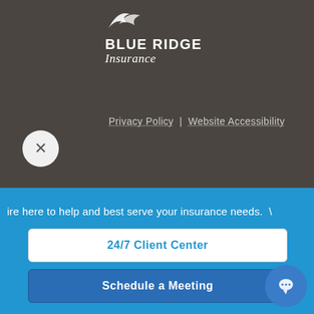[Figure (logo): Blue Ridge Insurance logo with stylized bird/wing graphic above bold text BLUE RIDGE and italic Insurance]
Privacy Policy | Website Accessibility
Personal Insurance
Auto Insurance
Home Insurance
Individual Life Insurance
ire here to help and best serve your insurance needs. \
24/7 Client Center
Schedule a Meeting